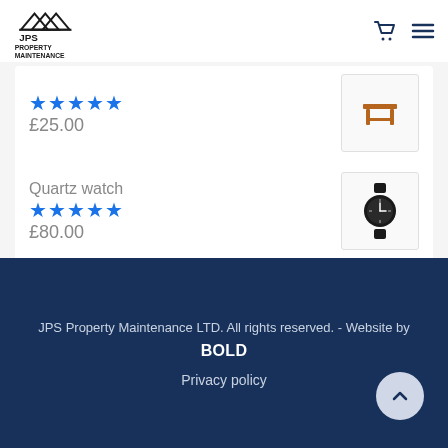[Figure (logo): JPS Property Maintenance logo with roof/house silhouette icon]
★★★★★ £25.00
Quartz watch ★★★★★ £80.00
JPS Property Maintenance LTD. All rights reserved. - Website by BOLD
Privacy policy